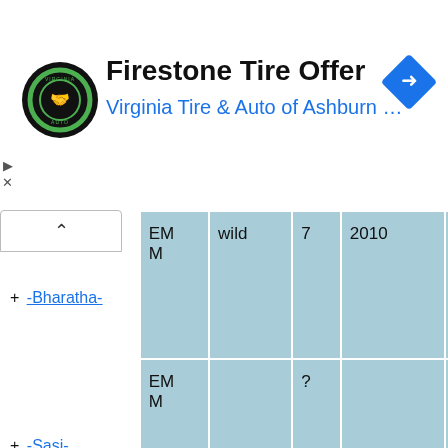[Figure (logo): Virginia Tire & Auto circular logo with tire and handshake icon on dark background]
Firestone Tire Offer
Virginia Tire & Auto of Ashburn …
| Name | Sex | Origin | Age | Born | Died |
| --- | --- | --- | --- | --- | --- |
| + -Bharatha- | EMM | wild | 7 | 2010 | 2017-12-00 |
| + -Sasi- | EMM |  | ? |  | 2017-10-18 |
| + -Packy- | EMM | captive-born | 55 | 1962-04-14 | 2017-02-09 |
| + -Hamsa Raj- | EMM | wild | 65 | 1952 | 2017 |